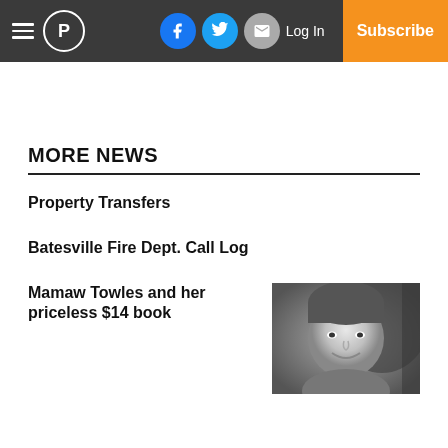Navigation bar with hamburger menu, P logo, Facebook, Twitter, Email icons, Log In, Subscribe
MORE NEWS
Property Transfers
Batesville Fire Dept. Call Log
Mamaw Towles and her priceless $14 book
[Figure (photo): Black and white photo of a smiling middle-aged man]